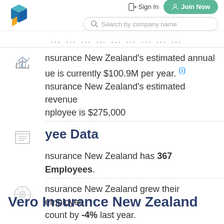[Figure (logo): Blue and teal geometric cube logo with orange accent]
Sign In
Join Now
Search by company name
Insurance New Zealand's estimated annual revenue is currently $100.9M per year. (i)
Insurance New Zealand's estimated revenue per employee is $275,000
Employee Data
Insurance New Zealand has 367 Employees.
Insurance New Zealand grew their employee count by -4% last year.
Vero Insurance New Zealand